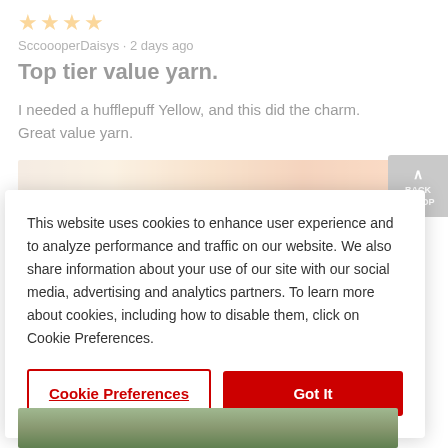★★★★ (4 stars)
SccoooperDaisys · 2 days ago
Top tier value yarn.
I needed a hufflepuff Yellow, and this did the charm. Great value yarn.
[Figure (photo): Photo of yarn project in yellow, orange and white colors]
This website uses cookies to enhance user experience and to analyze performance and traffic on our website. We also share information about your use of our site with our social media, advertising and analytics partners. To learn more about cookies, including how to disable them, click on Cookie Preferences.
Cookie Preferences
Got It
[Figure (photo): Partial photo of outdoor/garden scene]